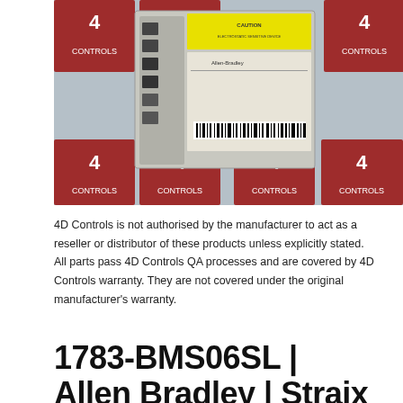[Figure (photo): Photo of an Allen-Bradley 1783-BMS06SL Stratix 5700 industrial network switch, shown sitting on a surface covered with 4D Controls branded tiles/stickers with red and white logos.]
4D Controls is not authorised by the manufacturer to act as a reseller or distributor of these products unless explicitly stated. All parts pass 4D Controls QA processes and are covered by 4D Controls warranty. They are not covered under the original manufacturer's warranty.
1783-BMS06SL | Allen Bradley | Straix 5700